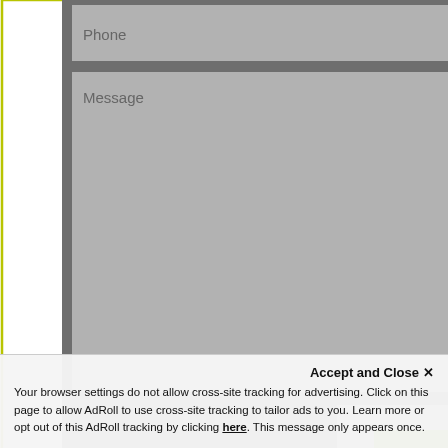[Figure (screenshot): A web contact form with a dark gray background. Fields for Phone and Message are visible, along with a SEND NOW button. A green sidebar with icons (phone, chat, email, map pin) is on the right. A green bar at the bottom says WRITE A REVIEW.]
Accept and Close ✕
Your browser settings do not allow cross-site tracking for advertising. Click on this page to allow AdRoll to use cross-site tracking to tailor ads to you. Learn more or opt out of this AdRoll tracking by clicking here. This message only appears once.